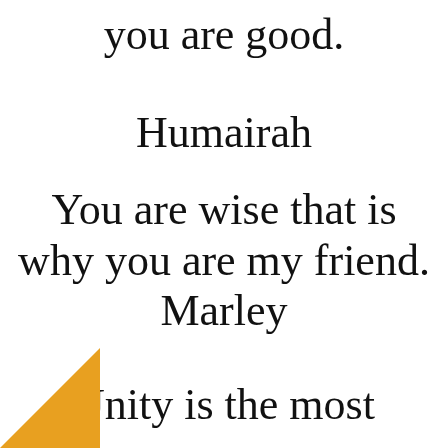you are good.
Humairah
You are wise that is why you are my friend. Marley
Unity is the most